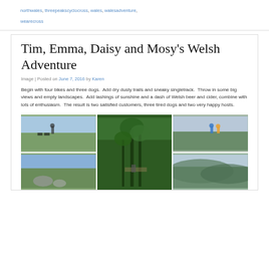northwales, threepeakscyclocross, wales, walesadventure, wearecross
Tim, Emma, Daisy and Mosy's Welsh Adventure
Image | Posted on June 7, 2016 by Karen
Begin with four bikes and three dogs.  Add dry dusty trails and sneaky singletrack.  Throw in some big views and empty landscapes.  Add lashings of sunshine and a dash of Welsh beer and cider, combine with lots of enthusiasm.  The result is two satisfied customers, three tired dogs and two very happy hosts.
[Figure (photo): Grid of outdoor/cycling photos showing landscapes, wooded trails, and people with bikes in Welsh countryside]